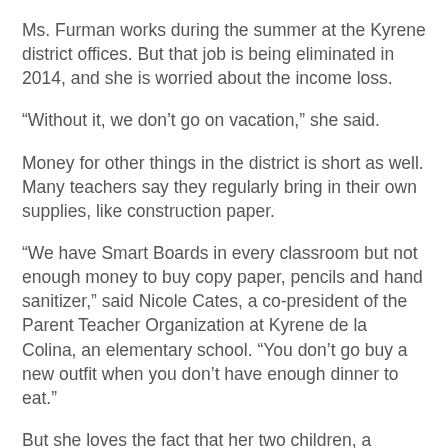Ms. Furman works during the summer at the Kyrene district offices. But that job is being eliminated in 2014, and she is worried about the income loss.
“Without it, we don’t go on vacation,” she said.
Money for other things in the district is short as well. Many teachers say they regularly bring in their own supplies, like construction paper.
“We have Smart Boards in every classroom but not enough money to buy copy paper, pencils and hand sanitizer,” said Nicole Cates, a co-president of the Parent Teacher Organization at Kyrene de la Colina, an elementary school. “You don’t go buy a new outfit when you don’t have enough dinner to eat.”
But she loves the fact that her two children, a fourth-grader and first-grader, are learning technology, including PowerPoint and educational games.
To some who favor high-tech classrooms, the resource